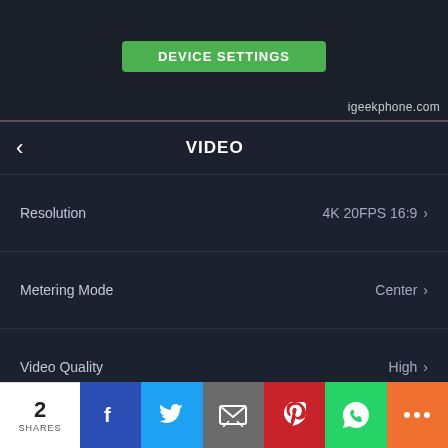[Figure (screenshot): DEVICE SETTINGS green button on dark background with igeekphone.com watermark]
VIDEO
Resolution  4K 20FPS 16:9 >
Metering Mode  Center >
Video Quality  High >
WB  Auto >
ISO  Auto >
Sharpness  High >
2 SHARES  [Facebook] [Twitter] [Email] [Pinterest] [WhatsApp] [More]